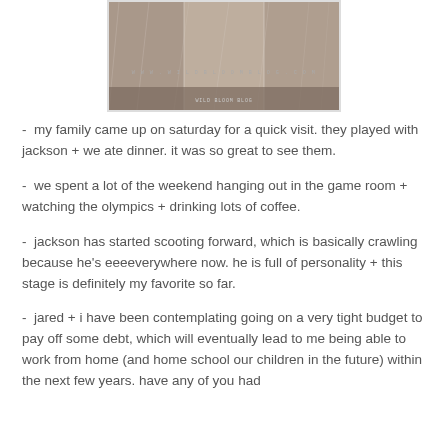[Figure (photo): A blog header image from wildbloom blog showing nature/animal photography with website URL www.wildbloom blog.com overlaid]
-  my family came up on saturday for a quick visit. they played with jackson + we ate dinner. it was so great to see them.
-  we spent a lot of the weekend hanging out in the game room + watching the olympics + drinking lots of coffee.
-  jackson has started scooting forward, which is basically crawling because he's eeeeverywhere now. he is full of personality + this stage is definitely my favorite so far.
-  jared + i have been contemplating going on a very tight budget to pay off some debt, which will eventually lead to me being able to work from home (and home school our children in the future) within the next few years. have any of you had